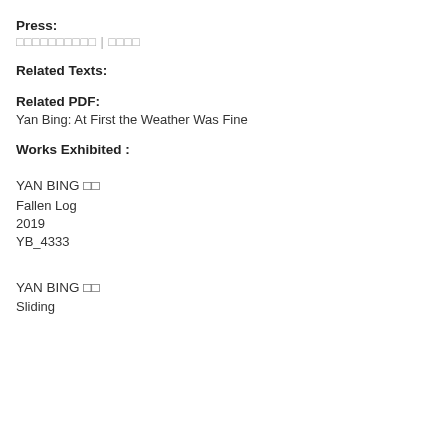Press:
□□□□□□□□□□ | □□□□
Related Texts:
Related PDF:
Yan Bing: At First the Weather Was Fine
Works Exhibited :
YAN BING □□
Fallen Log
2019
YB_4333
YAN BING □□
Sliding